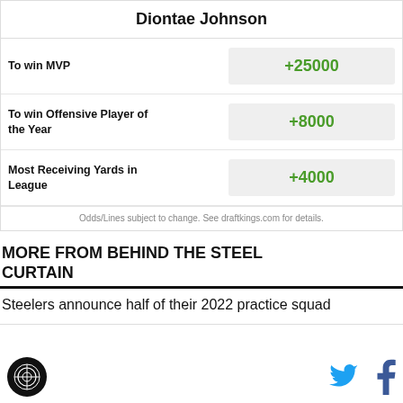Diontae Johnson
| Bet Type | Odds |
| --- | --- |
| To win MVP | +25000 |
| To win Offensive Player of the Year | +8000 |
| Most Receiving Yards in League | +4000 |
Odds/Lines subject to change. See draftkings.com for details.
MORE FROM BEHIND THE STEEL CURTAIN
Steelers announce half of their 2022 practice squad